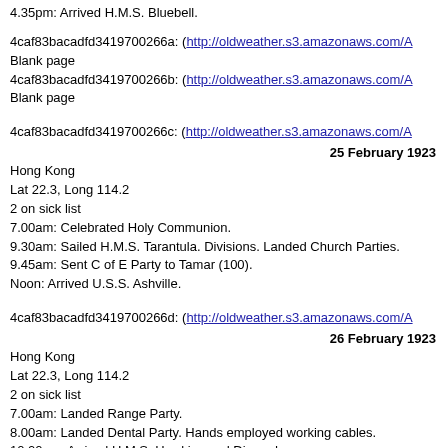4.35pm: Arrived H.M.S. Bluebell.
4caf83bacadfd3419700266a: (http://oldweather.s3.amazonaws.com/A
Blank page
4caf83bacadfd3419700266b: (http://oldweather.s3.amazonaws.com/A
Blank page
4caf83bacadfd3419700266c: (http://oldweather.s3.amazonaws.com/A
25 February 1923
Hong Kong
Lat 22.3, Long 114.2
2 on sick list
7.00am: Celebrated Holy Communion.
9.30am: Sailed H.M.S. Tarantula. Divisions. Landed Church Parties.
9.45am: Sent C of E Party to Tamar (100).
Noon: Arrived U.S.S. Ashville.
4caf83bacadfd3419700266d: (http://oldweather.s3.amazonaws.com/A
26 February 1923
Hong Kong
Lat 22.3, Long 114.2
2 on sick list
7.00am: Landed Range Party.
8.00am: Landed Dental Party. Hands employed working cables.
10.00am: Arrived H.M.S. Hawkins and Diomede.
11.30am: Arrived H.M.S. Despatch.
4caf83bacadfd3419700266e: (http://oldweather.s3.amazonaws.com/A